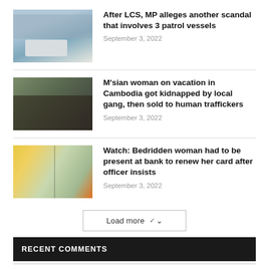[Figure (photo): Photo of a naval patrol vessel on water with sky background]
After LCS, MP alleges another scandal that involves 3 patrol vessels
September 3, 2022
[Figure (photo): Photo of law enforcement officers during an operation, people on ground]
M'sian woman on vacation in Cambodia got kidnapped by local gang, then sold to human traffickers
September 3, 2022
[Figure (photo): Photo of store interior with colorful products and shelves]
Watch: Bedridden woman had to be present at bank to renew her card after officer insists
September 3, 2022
Load more
RECENT COMMENTS